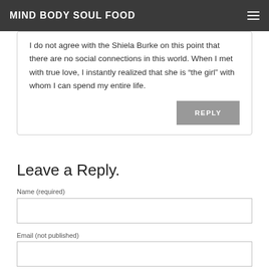MIND BODY SOUL FOOD
I do not agree with the Shiela Burke on this point that there are no social connections in this world. When I met with true love, I instantly realized that she is “the girl” with whom I can spend my entire life.
REPLY
Leave a Reply.
Name (required)
Email (not published)